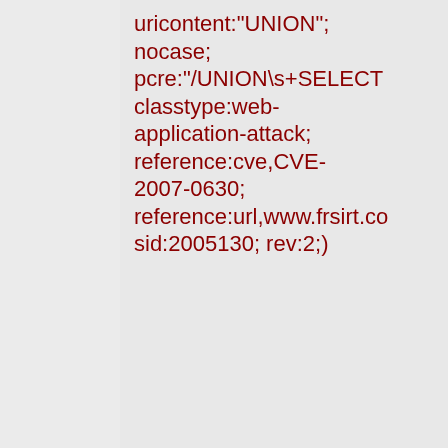uricontent:"UNION"; nocase; pcre:"/UNION\s+SELECT classtype:web-application-attack; reference:cve,CVE-2007-0630; reference:url,www.frsirt.co sid:2005130; rev:2;)
Added 2007-08-14 02:16:33 UTC
alert tcp $EXTERNAL_NET any -> $HTTP_SERVERS $HTTP_PORTS (msg:"BLEEDING-EDGE WEB X dev